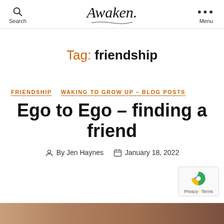Search | Awaken. | Menu
Tag: friendship
FRIENDSHIP   WAKING TO GROW UP – BLOG POSTS
Ego to Ego – finding a friend
By Jen Haynes   January 18, 2022
[Figure (photo): Bottom strip of a photo partially visible at the bottom of the page]